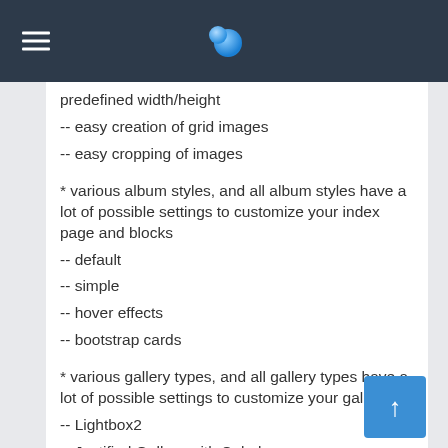predefined width/height
-- easy creation of grid images
-- easy cropping of images
* various album styles, and all album styles have a lot of possible settings to customize your index page and blocks
-- default
-- simple
-- hover effects
-- bootstrap cards
* various gallery types, and all gallery types have a lot of possible settings to customize your gallery
-- Lightbox2
-- Justified Gallery with Colorbox